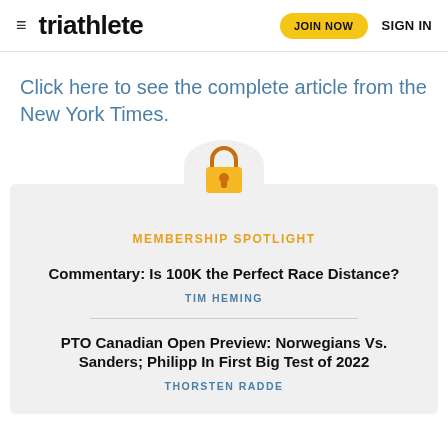triathlete | JOIN NOW | SIGN IN
Click here to see the complete article from the New York Times.
[Figure (illustration): Padlock icon in orange/yellow color centered above a gray membership spotlight section]
MEMBERSHIP SPOTLIGHT
Commentary: Is 100K the Perfect Race Distance?
TIM HEMING
PTO Canadian Open Preview: Norwegians Vs. Sanders; Philipp In First Big Test of 2022
THORSTEN RADDE